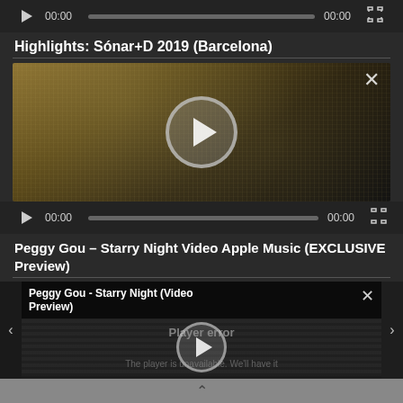[Figure (screenshot): Video player top controls bar with play button, 00:00 timestamps, progress bar, and fullscreen icon]
Highlights: Sónar+D 2019 (Barcelona)
[Figure (screenshot): Video player showing dark glittery/golden background with large circular play button in center and X close button top-right]
[Figure (screenshot): Second video controls bar with play button, 00:00 timestamps, progress bar, and fullscreen icon]
Peggy Gou – Starry Night Video Apple Music (EXCLUSIVE Preview)
[Figure (screenshot): Embedded video player for Peggy Gou - Starry Night (Video Preview) with player error message: The player is unavailable. We'll have it... X close button, large circular play button, side navigation arrows, and bottom chevron bar]